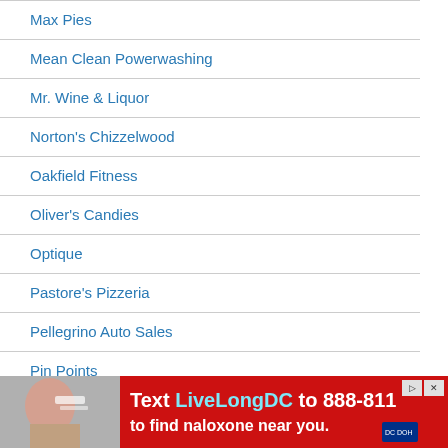Max Pies
Mean Clean Powerwashing
Mr. Wine & Liquor
Norton's Chizzelwood
Oakfield Fitness
Oliver's Candies
Optique
Pastore's Pizzeria
Pellegrino Auto Sales
Pin Points
Rider Real Estate
Rochester Regional Health – UMMC
Roman's
Sallome Heating & Cooling
Santino's Pizza
Select o...
Settler's...
[Figure (photo): Advertisement banner: Text LiveLongDC to 888-811 to find naloxone near you. Red background with person holding a ruler/pen. DC DOH logo.]